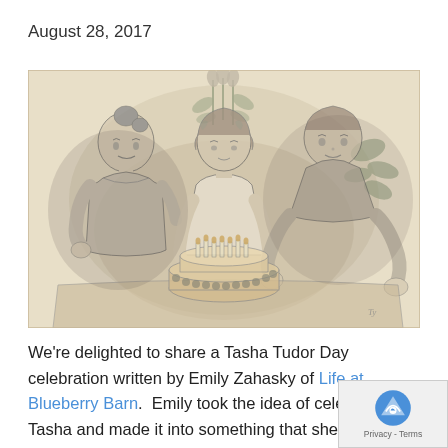August 28, 2017
[Figure (illustration): A pencil/charcoal illustration depicting three children gathered around a birthday cake with lit candles. A girl with a bun hairstyle is on the left, a girl with curly hair in the center leans over the cake, and a boy on the right leans in from behind. Flowers and foliage are visible in the background.]
We're delighted to share a Tasha Tudor Day celebration written by Emily Zahasky of Life at Blueberry Barn.  Emily took the idea of celebrating Tasha and made it into something that she could manage in her own way and time